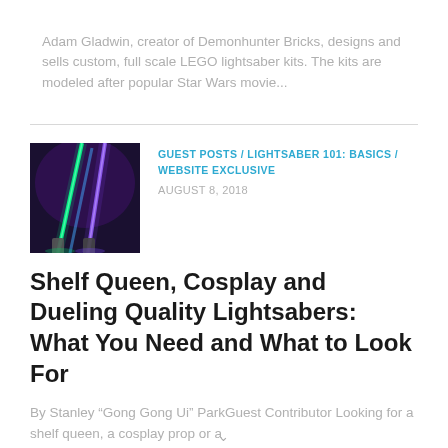Adam Gladwin, creator of Demonhunter Bricks, designs and sells custom, full scale LEGO lightsaber kits. The kits are modeled after popular Star Wars movie...
[Figure (photo): Photo of lightsabers lit up with green and blue/purple glowing blades against a dark background]
GUEST POSTS / LIGHTSABER 101: BASICS / WEBSITE EXCLUSIVE
AUGUST 8, 2018
Shelf Queen, Cosplay and Dueling Quality Lightsabers: What You Need and What to Look For
By Stanley “Gong Gong Ui” ParkGuest Contributor Looking for a shelf queen, a cosplay prop or a